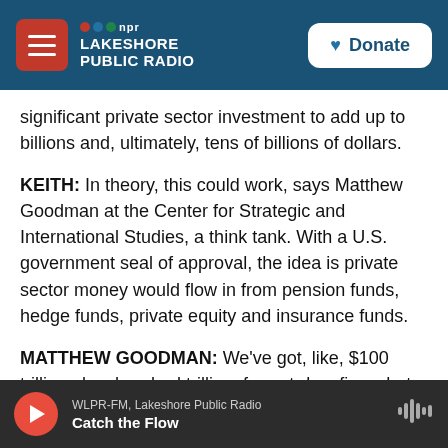NPR Lakeshore Public Radio | Donate
significant private sector investment to add up to billions and, ultimately, tens of billions of dollars.
KEITH: In theory, this could work, says Matthew Goodman at the Center for Strategic and International Studies, a think tank. With a U.S. government seal of approval, the idea is private sector money would flow in from pension funds, hedge funds, private equity and insurance funds.
MATTHEW GOODMAN: We've got, like, $100 trillion plus, hundred trillion, far out-dwarfing what China may have to offer through Belt and Road.
WLPR-FM, Lakeshore Public Radio | Catch the Flow